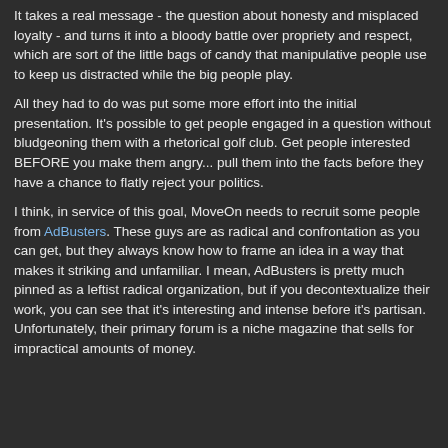It takes a real message - the question about honesty and misplaced loyalty - and turns it into a bloody battle over propriety and respect, which are sort of the little bags of candy that manipulative people use to keep us distracted while the big people play.
All they had to do was put some more effort into the initial presentation. It's possible to get people engaged in a question without bludgeoning them with a rhetorical golf club. Get people interested BEFORE you make them angry... pull them into the facts before they have a chance to flatly reject your politics.
I think, in service of this goal, MoveOn needs to recruit some people from AdBusters. These guys are as radical and confrontation as you can get, but they always know how to frame an idea in a way that makes it striking and unfamiliar. I mean, AdBusters is pretty much pinned as a leftist radical organization, but if you decontextualize their work, you can see that it's interesting and intense before it's partisan. Unfortunately, their primary forum is a niche magazine that sells for impractical amounts of money.